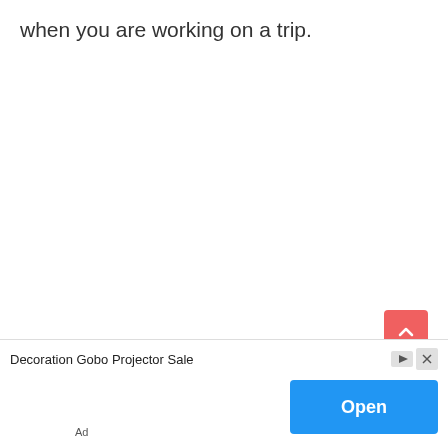when you are working on a trip.
[Figure (other): Scroll-to-top button: pink/salmon rounded square with upward chevron arrow icon]
This is something they set up entirely.
Most expenses are covered by the per diem/meal...
[Figure (other): Advertisement banner: Decoration Gobo Projector Sale with blue Open button, Ad label, and close/skip controls]